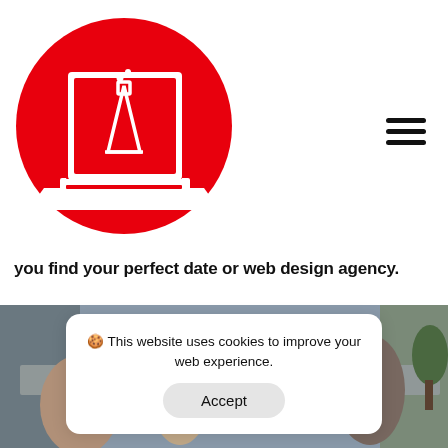[Figure (logo): Red circle logo with a white laptop icon containing a conical flask/beaker on screen, on white background]
[Figure (other): Hamburger menu icon (three horizontal lines) in top right corner]
you find your perfect date or web design agency.
[Figure (photo): Photo of people working together at a table with laptops in an office or meeting environment]
🍪 This website uses cookies to improve your web experience.
Accept